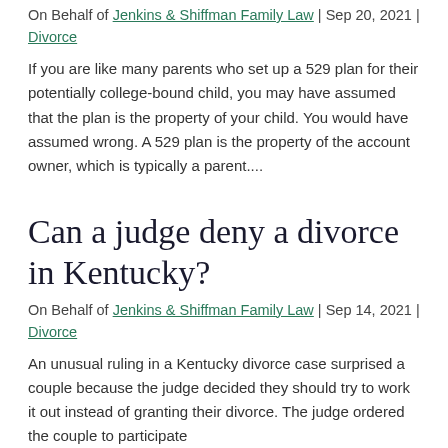On Behalf of Jenkins & Shiffman Family Law | Sep 20, 2021 | Divorce
If you are like many parents who set up a 529 plan for their potentially college-bound child, you may have assumed that the plan is the property of your child. You would have assumed wrong. A 529 plan is the property of the account owner, which is typically a parent....
Can a judge deny a divorce in Kentucky?
On Behalf of Jenkins & Shiffman Family Law | Sep 14, 2021 | Divorce
An unusual ruling in a Kentucky divorce case surprised a couple because the judge decided they should try to work it out instead of granting their divorce. The judge ordered the couple to participate in counselling or mediation before they could have...